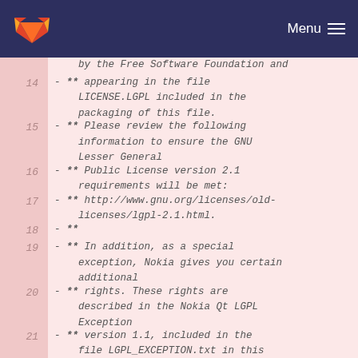GitLab — Menu
by the Free Software Foundation and
14 - ** appearing in the file LICENSE.LGPL included in the packaging of this file.
15 - ** Please review the following information to ensure the GNU Lesser General
16 - ** Public License version 2.1 requirements will be met:
17 - ** http://www.gnu.org/licenses/old-licenses/lgpl-2.1.html.
18 - **
19 - ** In addition, as a special exception, Nokia gives you certain additional
20 - ** rights. These rights are described in the Nokia Qt LGPL Exception
21 - ** version 1.1, included in the file LGPL_EXCEPTION.txt in this